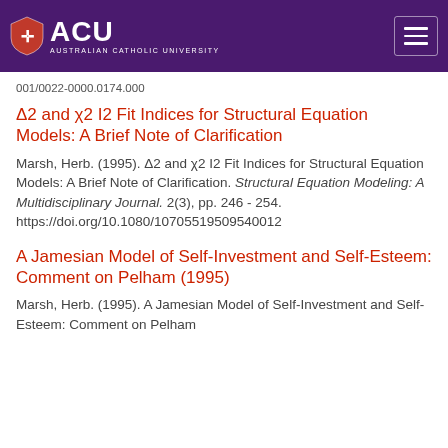ACU — Australian Catholic University
001/0022-0000.0174.000
Δ2 and χ2 I2 Fit Indices for Structural Equation Models: A Brief Note of Clarification
Marsh, Herb. (1995). Δ2 and χ2 I2 Fit Indices for Structural Equation Models: A Brief Note of Clarification. Structural Equation Modeling: A Multidisciplinary Journal. 2(3), pp. 246 - 254. https://doi.org/10.1080/10705519509540012
A Jamesian Model of Self-Investment and Self-Esteem: Comment on Pelham (1995)
Marsh, Herb. (1995). A Jamesian Model of Self-Investment and Self-Esteem: Comment on Pelham